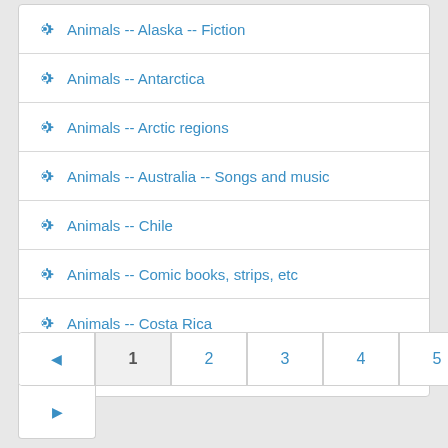Animals -- Alaska -- Fiction
Animals -- Antarctica
Animals -- Arctic regions
Animals -- Australia -- Songs and music
Animals -- Chile
Animals -- Comic books, strips, etc
Animals -- Costa Rica
Animals -- Dictionaries, Juvenile
◄ 1 2 3 4 5 ... 22 23 ►